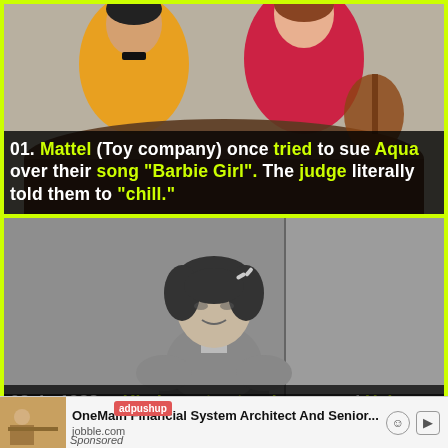[Figure (photo): Colorful scene with figures in yellow and pink/red outfits appearing to be in a vehicle or set, suggesting a Barbie-themed scene]
01. Mattel (Toy company) once tried to sue Aqua over their song "Barbie Girl". The judge literally told them to "chill."
[Figure (photo): Black and white photograph of a young woman with curly dark hair, smiling slightly, wearing a fitted top]
02. In 1938, a Kindergarten teacher named Helen Ualidi witnessed a burglary. She was...
adpushup | OneMain Financial System Architect And Senior... | jobble.com | Sponsored